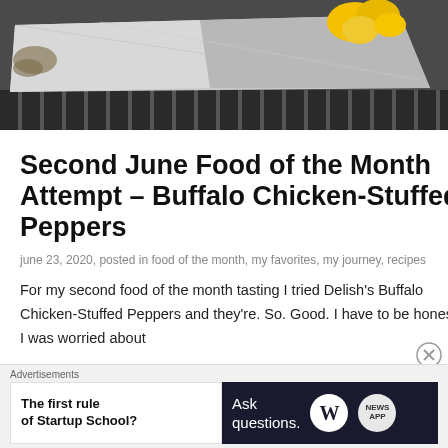[Figure (photo): Top-down photo of foil-wrapped food on a grill grate, with yellow peppers visible in the upper right]
Second June Food of the Month Attempt – Buffalo Chicken-Stuffed Peppers
june 23, 2020, posted in food of the month, my favorites, my journey, recipes
For my second food of the month tasting I tried Delish's Buffalo Chicken-Stuffed Peppers and they're. So. Good. I have to be honest, I was worried about
Advertisements
The first rule of Startup School?
Ask questions.